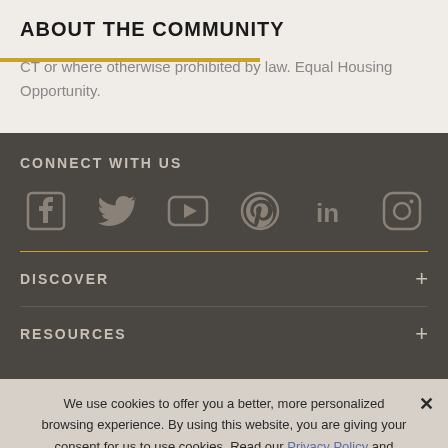ABOUT THE COMMUNITY
CT or where otherwise prohibited by law. Equal Housing Opportunity.
CONNECT WITH US
[Figure (infographic): Social media icons row: Facebook, Twitter, YouTube, Pinterest, LinkedIn, Instagram]
DISCOVER
RESOURCES
We use cookies to offer you a better, more personalized browsing experience. By using this website, you are giving your consent for us to use cookies. Read our Privacy Policy and Cookie Policy.